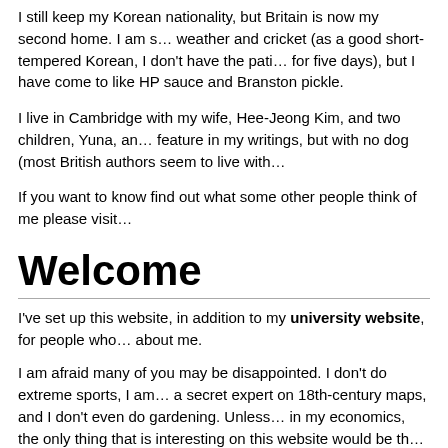I still keep my Korean nationality, but Britain is now my second home. I am s… weather and cricket (as a good short-tempered Korean, I don't have the pati… for five days), but I have come to like HP sauce and Branston pickle.
I live in Cambridge with my wife, Hee-Jeong Kim, and two children, Yuna, an… feature in my writings, but with no dog (most British authors seem to live with…
If you want to know find out what some other people think of me please visit…
Welcome
I've set up this website, in addition to my university website, for people who… about me.
I am afraid many of you may be disappointed. I don't do extreme sports, I am… a secret expert on 18th-century maps, and I don't even do gardening. Unless… in my economics, the only thing that is interesting on this website would be th… economists I like to read' under 'Influences'.
Still, please enjoy the site. It would be at least more informative and interesti… website!